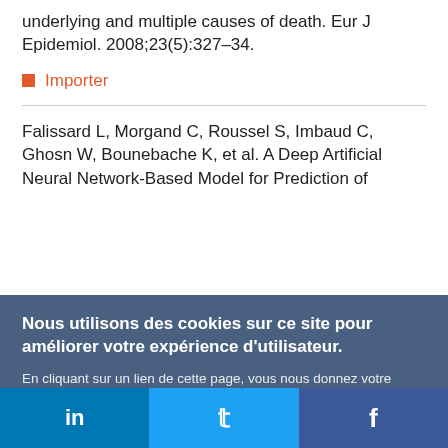underlying and multiple causes of death. Eur J Epidemiol. 2008;23(5):327–34.
■ Importer
Falissard L, Morgand C, Roussel S, Imbaud C, Ghosn W, Bounebache K, et al. A Deep Artificial Neural Network-Based Model for Prediction of
Nous utilisons des cookies sur ce site pour améliorer votre expérience d'utilisateur.

En cliquant sur un lien de cette page, vous nous donnez votre consentement de définir des cookies.
Oui, je suis d'accord
Plus d'infos